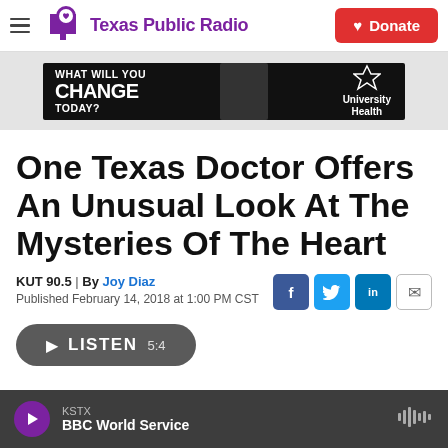Texas Public Radio — Donate
[Figure (screenshot): University Health advertisement banner: 'WHAT WILL YOU CHANGE TODAY?']
One Texas Doctor Offers An Unusual Look At The Mysteries Of The Heart
KUT 90.5 | By Joy Diaz
Published February 14, 2018 at 1:00 PM CST
[Figure (screenshot): Social share icons: Facebook, Twitter, LinkedIn, Email]
[Figure (screenshot): Partially visible LISTEN audio player button]
KSTX — BBC World Service (audio player bar)